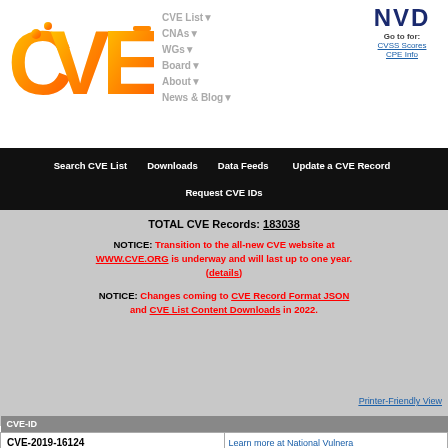[Figure (logo): CVE logo - orange gradient letters CVE with dot pattern]
CVE List▼  CNAs▼  WGs▼  Board▼  About▼  News & Blog▼
NVD Go to for: CVSS Scores  CPE Info
Search CVE List   Downloads   Data Feeds   Update a CVE Record   Request CVE IDs
TOTAL CVE Records: 183038
NOTICE: Transition to the all-new CVE website at WWW.CVE.ORG is underway and will last up to one year. (details)
NOTICE: Changes coming to CVE Record Format JSON and CVE List Content Downloads in 2022.
HOME > CVE > CVE-2019-16124
Printer-Friendly View
| CVE-ID |  |
| --- | --- |
| CVE-2019-16124 | Learn more at National Vulnera... |